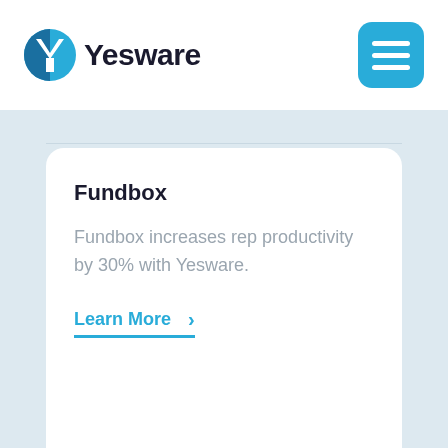Yesware
Fundbox
Fundbox increases rep productivity by 30% with Yesware.
Learn More >